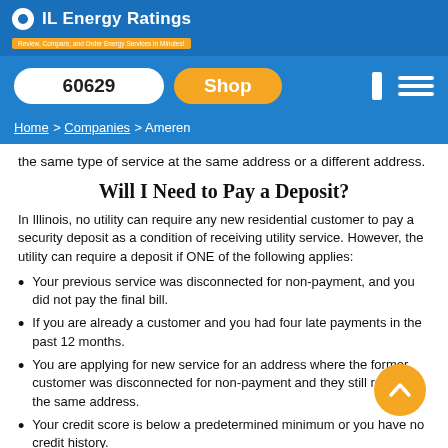IL Energy Ratings — Review, Compare, and Order Energy Services in Minutes!
60629  Shop
Home > Companies > Ameren
the same type of service at the same address or a different address.
Will I Need to Pay a Deposit?
In Illinois, no utility can require any new residential customer to pay a security deposit as a condition of receiving utility service. However, the utility can require a deposit if ONE of the following applies:
Your previous service was disconnected for non-payment, and you did not pay the final bill.
If you are already a customer and you had four late payments in the past 12 months.
You are applying for new service for an address where the former customer was disconnected for non-payment and they still reside at the same address.
Your credit score is below a predetermined minimum or you have no credit history.